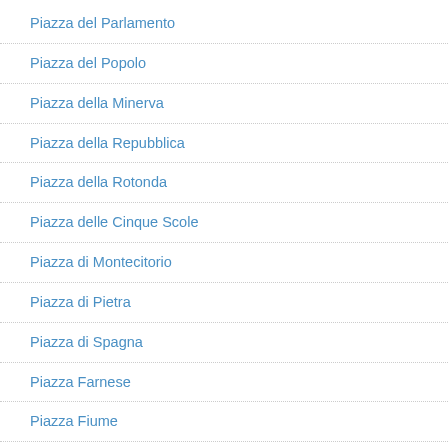Piazza del Parlamento
Piazza del Popolo
Piazza della Minerva
Piazza della Repubblica
Piazza della Rotonda
Piazza delle Cinque Scole
Piazza di Montecitorio
Piazza di Pietra
Piazza di Spagna
Piazza Farnese
Piazza Fiume
Piazza Navona